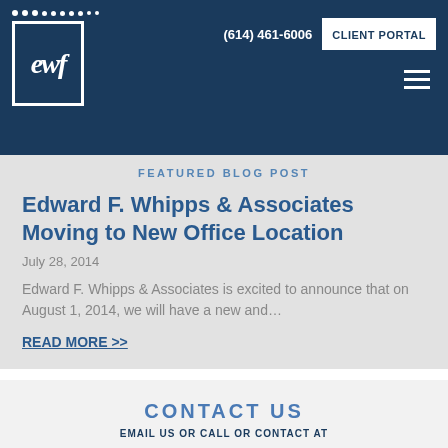(614) 461-6006 | CLIENT PORTAL
[Figure (logo): EWF logo with decorative dots on dark navy background]
FEATURED BLOG POST
Edward F. Whipps & Associates Moving to New Office Location
July 28, 2014
Edward F. Whipps & Associates is excited to announce that on August 1, 2014, we will have a new and…
READ MORE >>
CONTACT US
EMAIL US OR CALL OR CONTACT AT